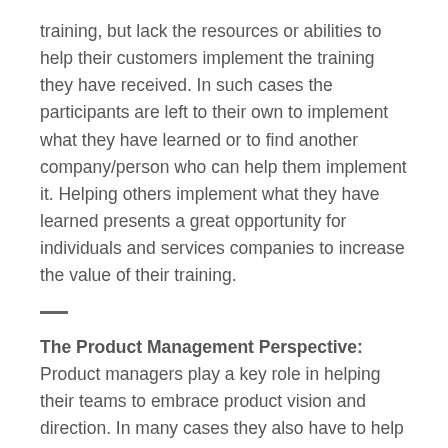training, but lack the resources or abilities to help their customers implement the training they have received. In such cases the participants are left to their own to implement what they have learned or to find another company/person who can help them implement it. Helping others implement what they have learned presents a great opportunity for individuals and services companies to increase the value of their training.
The Product Management Perspective: Product managers play a key role in helping their teams to embrace product vision and direction. In many cases they also have to help executives do the same. They must learn to present their roadmaps with passion and work to convince their teams they are headed in the right direction. When the teams are on board they will apply their efforts to creating and